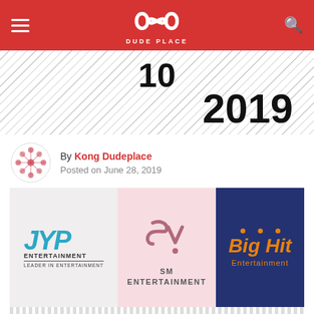DUDE PLACE
10 2019
By Kong Dudeplace
Posted on June 28, 2019
[Figure (logo): Three K-pop entertainment company logos side by side: JYP Entertainment, SM Entertainment, Big Hit Entertainment]